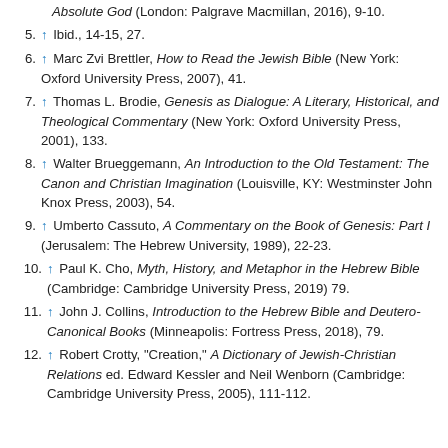5. ↑ Ibid., 14-15, 27.
6. ↑ Marc Zvi Brettler, How to Read the Jewish Bible (New York: Oxford University Press, 2007), 41.
7. ↑ Thomas L. Brodie, Genesis as Dialogue: A Literary, Historical, and Theological Commentary (New York: Oxford University Press, 2001), 133.
8. ↑ Walter Brueggemann, An Introduction to the Old Testament: The Canon and Christian Imagination (Louisville, KY: Westminster John Knox Press, 2003), 54.
9. ↑ Umberto Cassuto, A Commentary on the Book of Genesis: Part I (Jerusalem: The Hebrew University, 1989), 22-23.
10. ↑ Paul K. Cho, Myth, History, and Metaphor in the Hebrew Bible (Cambridge: Cambridge University Press, 2019) 79.
11. ↑ John J. Collins, Introduction to the Hebrew Bible and Deutero-Canonical Books (Minneapolis: Fortress Press, 2018), 79.
12. ↑ Robert Crotty, "Creation," A Dictionary of Jewish-Christian Relations ed. Edward Kessler and Neil Wenborn (Cambridge: Cambridge University Press, 2005), 111-112.